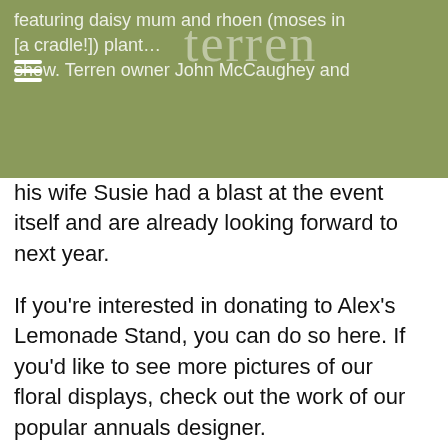featuring daisy mum and rhoen (moses in [a cradle!]) plant… show. Terren owner John McCaughey and his wife Susie had a blast at the event itself and are already looking forward to next year.
his wife Susie had a blast at the event itself and are already looking forward to next year.
If you're interested in donating to Alex's Lemonade Stand, you can do so here. If you'd like to see more pictures of our floral displays, check out the work of our popular annuals designer.
Until next year! Take care.